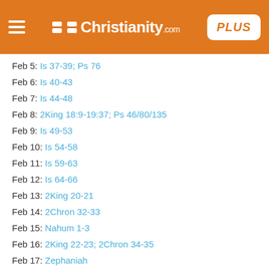[Figure (logo): Christianity.com website header with hamburger menu, logo, and PLUS button on orange background]
Feb 5: Is 37-39; Ps 76
Feb 6: Is 40-43
Feb 7: Is 44-48
Feb 8: 2King 18:9-19:37; Ps 46/80/135
Feb 9: Is 49-53
Feb 10: Is 54-58
Feb 11: Is 59-63
Feb 12: Is 64-66
Feb 13: 2King 20-21
Feb 14: 2Chron 32-33
Feb 15: Nahum 1-3
Feb 16: 2King 22-23; 2Chron 34-35
Feb 17: Zephaniah